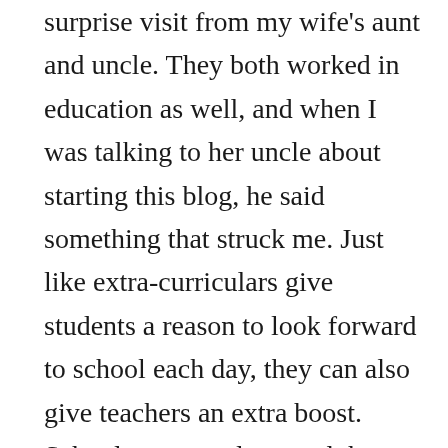surprise visit from my wife's aunt and uncle. They both worked in education as well, and when I was talking to her uncle about starting this blog, he said something that struck me. Just like extra-curriculars give students a reason to look forward to school each day, they can also give teachers an extra boost. School years are long and there are days when it seems like it will be impossible to get through the day, but having these activities gives an extra incentive.
I've also learned that sponsoring these activities helps open up a connection to many teachers that I probably wouldn't speak to otherwise. Speaking with other sponsors about their clubs and their experiences helps